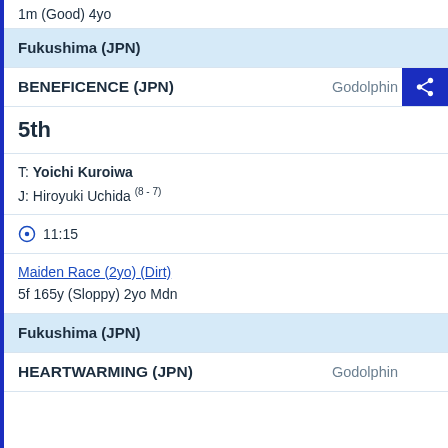1m (Good) 4yo
Fukushima (JPN)
BENEFICENCE (JPN)   Godolphin
5th
T: Yoichi Kuroiwa
J: Hiroyuki Uchida (8 - 7)
11:15
Maiden Race (2yo) (Dirt)
5f 165y (Sloppy) 2yo Mdn
Fukushima (JPN)
HEARTWARMING (JPN)   Godolphin